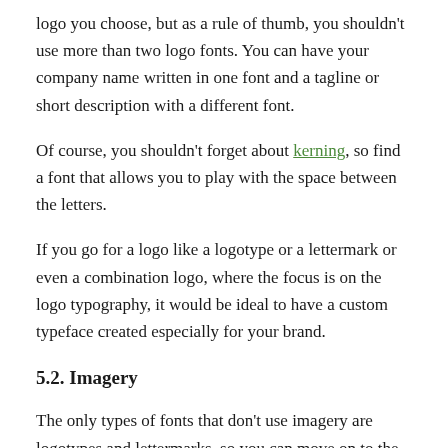logo you choose, but as a rule of thumb, you shouldn't use more than two logo fonts. You can have your company name written in one font and a tagline or short description with a different font.
Of course, you shouldn't forget about kerning, so find a font that allows you to play with the space between the letters.
If you go for a logo like a logotype or a lettermark or even a combination logo, where the focus is on the logo typography, it would be ideal to have a custom typeface created especially for your brand.
5.2. Imagery
The only types of fonts that don't use imagery are logotypes and lettermarks, so you can move on to the next step if your logo fits one of these two options.